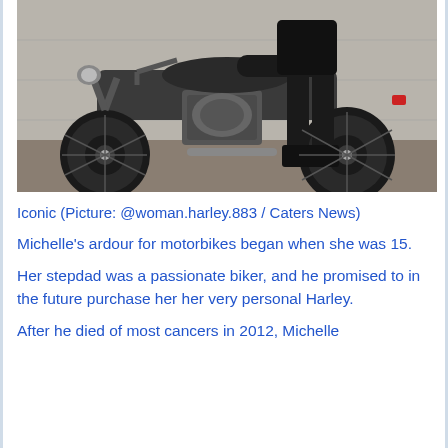[Figure (photo): A person in black clothing and boots sitting on a Harley-Davidson motorcycle parked against a concrete wall, photographed from the side showing the engine and wheels prominently.]
Iconic (Picture: @woman.harley.883 / Caters News)
Michelle's ardour for motorbikes began when she was 15.
Her stepdad was a passionate biker, and he promised to in the future purchase her her very personal Harley.
After he died of most cancers in 2012, Michelle